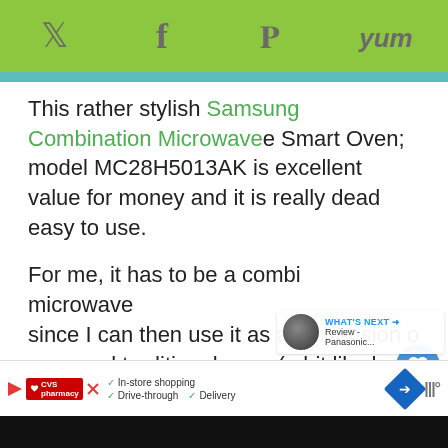Social sharing bar with Twitter, Facebook, Pinterest, Yummly icons
This rather stylish Samsung Combination Microwave Smart Oven; model MC28H5013AK is excellent value for money and it is really dead easy to use.
For me, it has to be a combi microwave since I can then use it as an extension of my usual traditional oven (a bit like having two ovens) which really comes in handy when we have friends around and cooking a variety of dishes or a large meal.
Ad bar: CVS Pharmacy - In-store shopping, Drive-through, Delivery